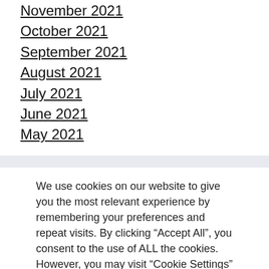November 2021
October 2021
September 2021
August 2021
July 2021
June 2021
May 2021
We use cookies on our website to give you the most relevant experience by remembering your preferences and repeat visits. By clicking “Accept All”, you consent to the use of ALL the cookies. However, you may visit “Cookie Settings” to provide a controlled consent.
Cookie Settings | Accept All